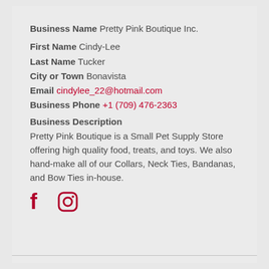Business Name Pretty Pink Boutique Inc.
First Name Cindy-Lee
Last Name Tucker
City or Town Bonavista
Email cindylee_22@hotmail.com
Business Phone +1 (709) 476-2363
Business Description
Pretty Pink Boutique is a Small Pet Supply Store offering high quality food, treats, and toys. We also hand-make all of our Collars, Neck Ties, Bandanas, and Bow Ties in-house.
[Figure (logo): Facebook and Instagram social media icons in dark red/crimson color]